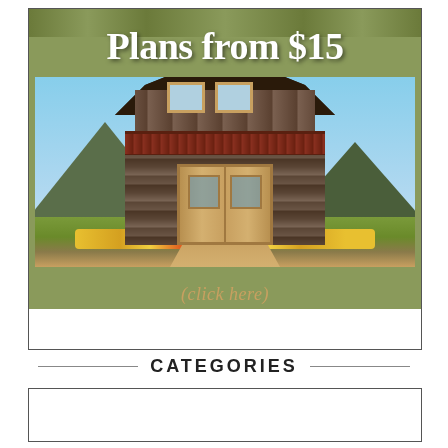[Figure (illustration): Advertisement banner for barn/shed building plans starting from $15. Shows a two-story gambrel-roofed barn structure with wood siding, balcony railing, double doors, and upper windows. Set against a mountain and forest backdrop. Text reads 'Plans from $15' at top and '(click here)' at bottom.]
CATEGORIES